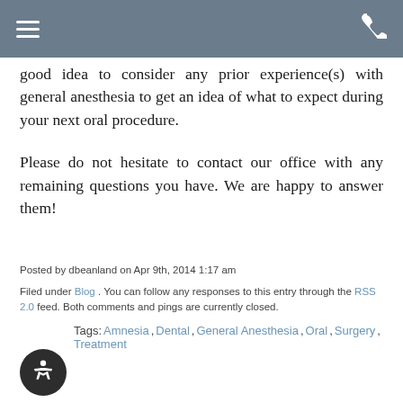[hamburger menu] [phone icon]
good idea to consider any prior experience(s) with general anesthesia to get an idea of what to expect during your next oral procedure.
Please do not hesitate to contact our office with any remaining questions you have. We are happy to answer them!
Posted by dbeanland on Apr 9th, 2014 1:17 am
Filed under Blog . You can follow any responses to this entry through the RSS 2.0 feed. Both comments and pings are currently closed.
Tags: Amnesia, Dental, General Anesthesia, Oral, Surgery, Treatment